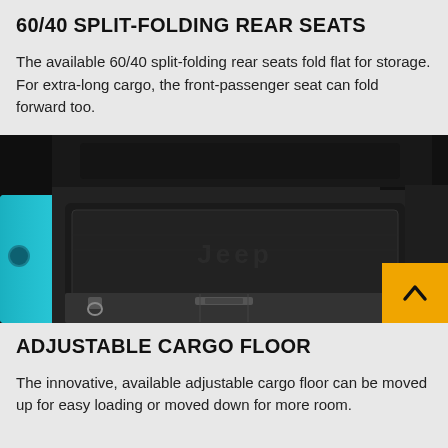60/40 SPLIT-FOLDING REAR SEATS
The available 60/40 split-folding rear seats fold flat for storage. For extra-long cargo, the front-passenger seat can fold forward too.
[Figure (photo): Photo of the rear cargo area of a Jeep vehicle showing a black cargo mat with the Jeep logo embossed, cargo floor with tie-down hooks, and blue exterior visible on the left side. A yellow up-arrow button is overlaid in the bottom right corner.]
ADJUSTABLE CARGO FLOOR
The innovative, available adjustable cargo floor can be moved up for easy loading or moved down for more room.